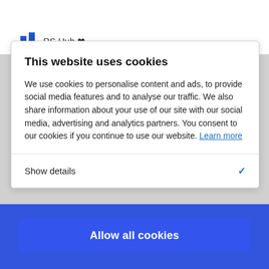[Figure (logo): RS Hub logo with blue bar chart icon and text 'RS Hub' with a heart emoji]
This website uses cookies
We use cookies to personalise content and ads, to provide social media features and to analyse our traffic. We also share information about your use of our site with our social media, advertising and analytics partners. You consent to our cookies if you continue to use our website. Learn more
Show details
Allow all cookies